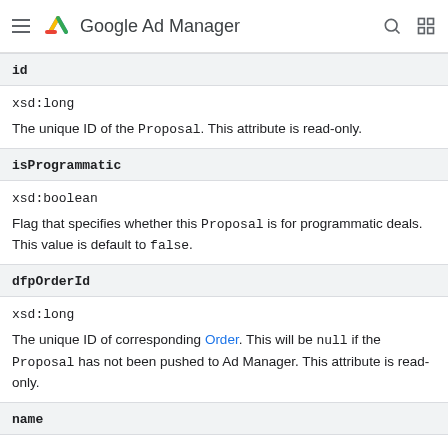Google Ad Manager
id
xsd:long
The unique ID of the Proposal. This attribute is read-only.
isProgrammatic
xsd:boolean
Flag that specifies whether this Proposal is for programmatic deals. This value is default to false.
dfpOrderId
xsd:long
The unique ID of corresponding Order. This will be null if the Proposal has not been pushed to Ad Manager. This attribute is read-only.
name